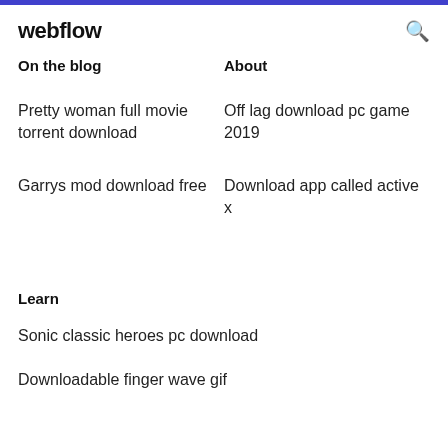webflow
On the blog
About
Pretty woman full movie torrent download
Off lag download pc game 2019
Garrys mod download free
Download app called active x
Learn
Sonic classic heroes pc download
Downloadable finger wave gif